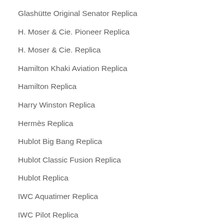Glashütte Original Senator Replica
H. Moser & Cie. Pioneer Replica
H. Moser & Cie. Replica
Hamilton Khaki Aviation Replica
Hamilton Replica
Harry Winston Replica
Hermès Replica
Hublot Big Bang Replica
Hublot Classic Fusion Replica
Hublot Replica
IWC Aquatimer Replica
IWC Pilot Replica